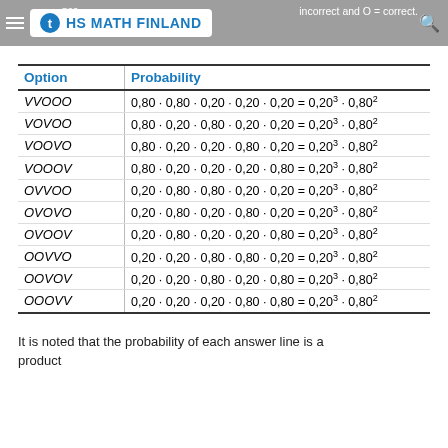HS MATH FINLAND — possible options. In the table V = incorrect and O = correct.
| Option | Probability |
| --- | --- |
| VVOOO | 0,80 · 0,80 · 0,20 · 0,20 · 0,20 = 0,20³ · 0,80² |
| VOVOO | 0,80 · 0,20 · 0,80 · 0,20 · 0,20 = 0,20³ · 0,80² |
| VOOVO | 0,80 · 0,20 · 0,20 · 0,80 · 0,20 = 0,20³ · 0,80² |
| VOOOV | 0,80 · 0,20 · 0,20 · 0,20 · 0,80 = 0,20³ · 0,80² |
| OVVOO | 0,20 · 0,80 · 0,80 · 0,20 · 0,20 = 0,20³ · 0,80² |
| OVOVO | 0,20 · 0,80 · 0,20 · 0,80 · 0,20 = 0,20³ · 0,80² |
| OVOOV | 0,20 · 0,80 · 0,20 · 0,20 · 0,80 = 0,20³ · 0,80² |
| OOVVO | 0,20 · 0,20 · 0,80 · 0,80 · 0,20 = 0,20³ · 0,80² |
| OOVOV | 0,20 · 0,20 · 0,80 · 0,20 · 0,80 = 0,20³ · 0,80² |
| OOOVV | 0,20 · 0,20 · 0,20 · 0,80 · 0,80 = 0,20³ · 0,80² |
It is noted that the probability of each answer line is a product